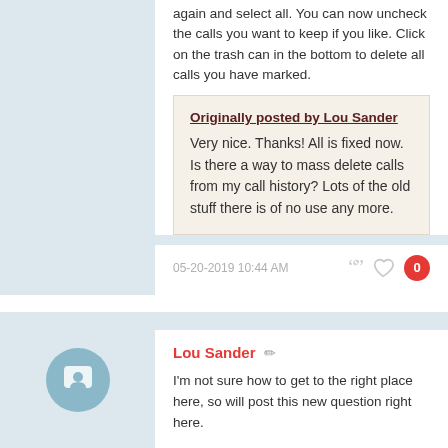again and select all. You can now uncheck the calls you want to keep if you like. Click on the trash can in the bottom to delete all calls you have marked.
Originally posted by Lou Sander
Very nice. Thanks! All is fixed now. Is there a way to mass delete calls from my call history? Lots of the old stuff there is of no use any more.
05-20-2019 10:44 AM
Lou Sander
I'm not sure how to get to the right place here, so will post this new question right here.
I think my Alcatel IDOL 4S has died. I can't turn it